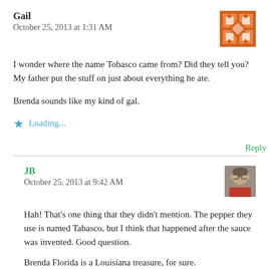Gail
October 25, 2013 at 1:31 AM
[Figure (illustration): Orange and white decorative geometric avatar image for user Gail]
I wonder where the name Tobasco came from?  Did they tell you?  My father put the stuff on just about everything he ate.
Brenda sounds like my kind of gal.
★ Loading...
Reply
JB
October 25, 2013 at 9:42 AM
[Figure (photo): Small photo avatar of user JB, a person wearing glasses and a red shirt]
Hah! That's one thing that they didn't mention. The pepper they use is named Tabasco, but I think that happened after the sauce was invented. Good question.
Brenda Florida is a Louisiana treasure, for sure.